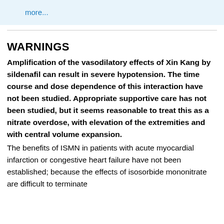[Figure (other): Top banner with icon and 'more...' link on light blue background]
WARNINGS
Amplification of the vasodilatory effects of Xin Kang by sildenafil can result in severe hypotension. The time course and dose dependence of this interaction have not been studied. Appropriate supportive care has not been studied, but it seems reasonable to treat this as a nitrate overdose, with elevation of the extremities and with central volume expansion.
The benefits of ISMN in patients with acute myocardial infarction or congestive heart failure have not been established; because the effects of isosorbide mononitrate are difficult to terminate...